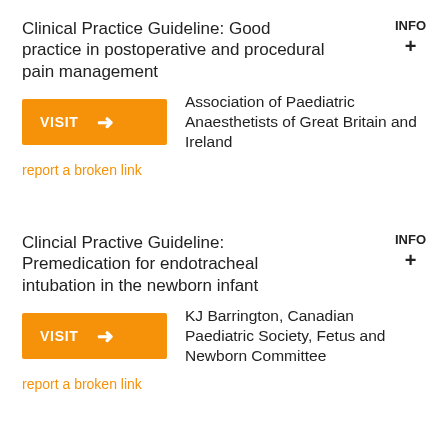Clinical Practice Guideline: Good practice in postoperative and procedural pain management
Association of Paediatric Anaesthetists of Great Britain and Ireland
report a broken link
Clincial Practive Guideline: Premedication for endotracheal intubation in the newborn infant
KJ Barrington, Canadian Paediatric Society, Fetus and Newborn Committee
report a broken link